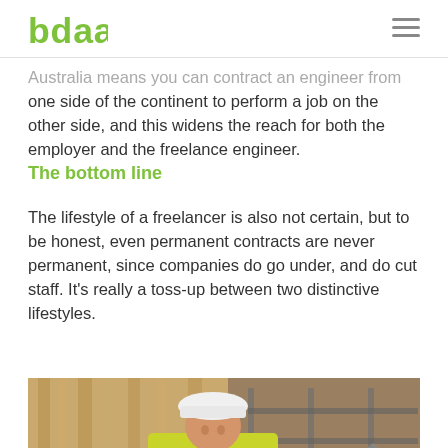bdaa
Australia means you can contract an engineer from one side of the continent to perform a job on the other side, and this widens the reach for both the employer and the freelance engineer.
The bottom line
The lifestyle of a freelancer is also not certain, but to be honest, even permanent contracts are never permanent, since companies do go under, and do cut staff. It's really a toss-up between two distinctive lifestyles.
[Figure (photo): A construction worker wearing a white hard hat and yellow high-visibility jacket, looking at something, surrounded by wooden construction framing and scaffolding in the background.]